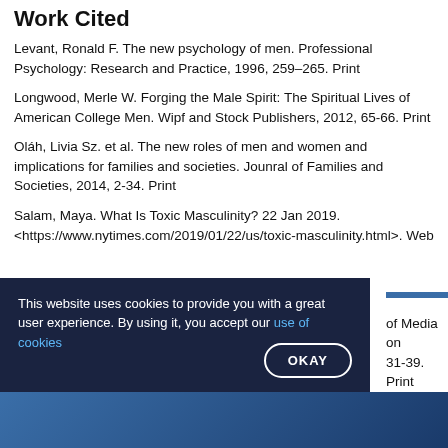Work Cited
Levant, Ronald F. The new psychology of men. Professional Psychology: Research and Practice, 1996, 259–265. Print
Longwood, Merle W. Forging the Male Spirit: The Spiritual Lives of American College Men. Wipf and Stock Publishers, 2012, 65-66. Print
Oláh, Livia Sz. et al. The new roles of men and women and implications for families and societies. Jounral of Families and Societies, 2014, 2-34. Print
Salam, Maya. What Is Toxic Masculinity? 22 Jan 2019. <https://www.nytimes.com/2019/01/22/us/toxic-masculinity.html>. Web
...of Media on ..., 31-39. Print
This website uses cookies to provide you with a great user experience. By using it, you accept our use of cookies